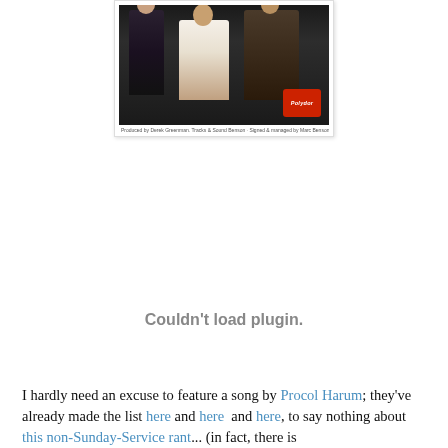[Figure (photo): Photograph of a music group (Procol Harum) on a Polydor album cover or promotional image, showing several people posed together with a red Polydor record label badge in the bottom right corner. Small caption text below the image.]
Couldn't load plugin.
I hardly need an excuse to feature a song by Procol Harum; they've already made the list here and here  and here, to say nothing about this non-Sunday-Service rant... (in fact, there is